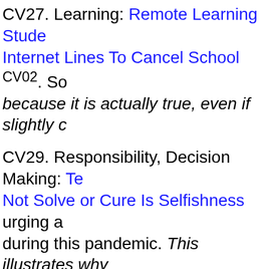CV27. Learning: Remote Learning Students Use Internet Lines To Cancel School CV02. So because it is actually true, even if slightly c
CV29. Responsibility, Decision Making: Te Not Solve or Cure Is Selfishness urging a during this pandemic. This illustrates why there are gaps in the progressive pattern th interpretation is someone is changing their Tennessee Is Worst in the World for Cor CV11.1, 201016-CV03A. Tennessee Wom She Tested Positive for Covid-19. 200820 200407-CV16B, 200329-3.9A, <CONT 200 Shots, Tennessee Builds Vaccine Reserv